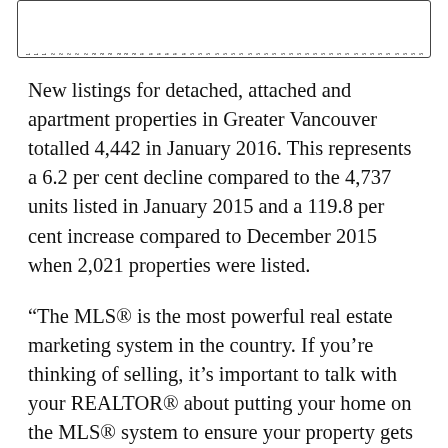[Figure (bar-chart): Partial bar chart showing new listings data by month from 2011 to 2016, cropped at top — only the rotated x-axis year labels are visible at the bottom of the chart area.]
New listings for detached, attached and apartment properties in Greater Vancouver totalled 4,442 in January 2016. This represents a 6.2 per cent decline compared to the 4,737 units listed in January 2015 and a 119.8 per cent increase compared to December 2015 when 2,021 properties were listed.
“The MLS® is the most powerful real estate marketing system in the country. If you’re thinking of selling, it’s important to talk with your REALTOR® about putting your home on the MLS® system to ensure your property gets maximum exposure,” McLeod said.